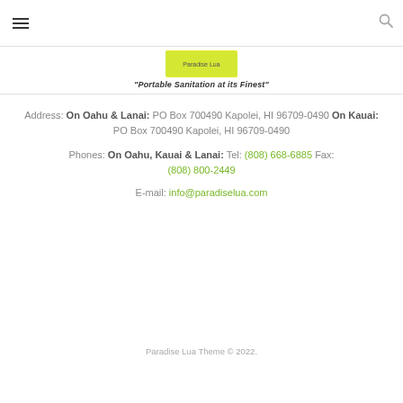Navigation header with hamburger menu and search icon
[Figure (logo): Paradise Lua logo with yellow banner graphic]
"Portable Sanitation at its Finest"
Address: On Oahu & Lanai: PO Box 700490 Kapolei, HI 96709-0490 On Kauai: PO Box 700490 Kapolei, HI 96709-0490
Phones: On Oahu, Kauai & Lanai: Tel: (808) 668-6885 Fax: (808) 800-2449
E-mail: info@paradiselua.com
Paradise Lua Theme © 2022.